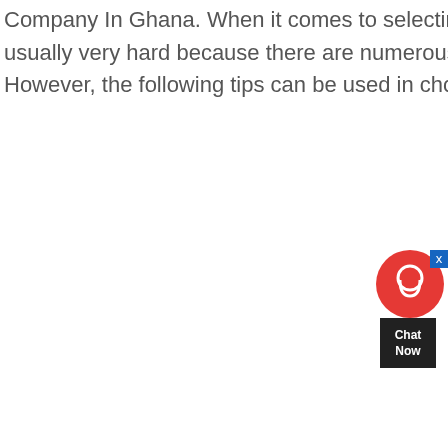Company In Ghana. When it comes to selecting a gold mining company in Ghana, the decision is usually very hard because there are numerous numbers of gold mining companies in the country. However, the following tips can be used in choosing the right gold mining company in country
[Figure (screenshot): Chat widget with red circular icon, dark arrow pointer, Chat Now label, and Contact button]
[Figure (photo): A gold mining machine / open-pit mining equipment in Ghana]
the average gold mining machines in ghana
Gold Mining in Ghana (2020) JXSC Machine. 2020-4-21 This open-pit mine is located in western Ghana, about 20 kilometers south of the Bibiani